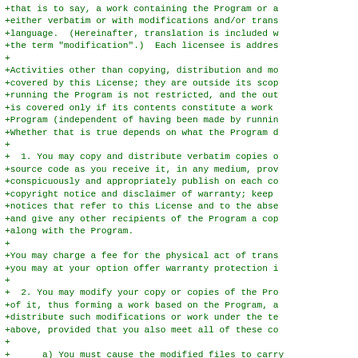+that is to say, a work containing the Program or a
+either verbatim or with modifications and/or trans
+language.  (Hereinafter, translation is included w
+the term "modification".)  Each licensee is addres
+
+Activities other than copying, distribution and mo
+covered by this License; they are outside its scop
+running the Program is not restricted, and the out
+is covered only if its contents constitute a work
+Program (independent of having been made by runnin
+Whether that is true depends on what the Program d
+
+  1. You may copy and distribute verbatim copies o
+source code as you receive it, in any medium, prov
+conspicuously and appropriately publish on each co
+copyright notice and disclaimer of warranty; keep
+notices that refer to this License and to the abse
+and give any other recipients of the Program a cop
+along with the Program.
+
+You may charge a fee for the physical act of trans
+you may at your option offer warranty protection i
+
+  2. You may modify your copy or copies of the Pro
+of it, thus forming a work based on the Program, a
+distribute such modifications or work under the te
+above, provided that you also meet all of these co
+
+      a) You must cause the modified files to carry
+      stating that you changed the files and the dat